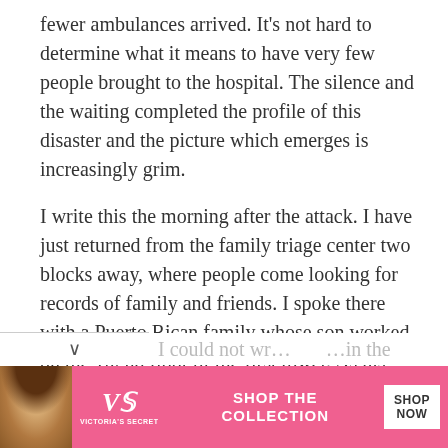fewer ambulances arrived. It's not hard to determine what it means to have very few people brought to the hospital. The silence and the waiting completed the profile of this disaster and the picture which emerges is increasingly grim.
I write this the morning after the attack. I have just returned from the family triage center two blocks away, where people come looking for records of family and friends. I spoke there with a Puerto Rican family whose son worked on the 102nd floor of the first tower. As his mother looked at me, she gave me a glance that seemed to say, "Don't give me any nonsense about this being all right." I couldn't; there seems but a small chance that her son survived.
[Figure (screenshot): Victoria's Secret advertisement banner with model photo, VS logo, 'SHOP THE COLLECTION' text, and 'SHOP NOW' button on pink background]